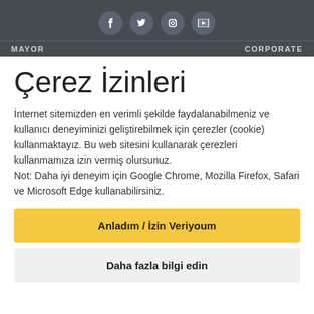[Figure (other): Header with social media icons (Facebook, Twitter, Instagram, YouTube) in circular grey buttons on dark background]
MAYOR   CORPORATE
Çerez İzinleri
İnternet sitemizden en verimli şekilde faydalanabilmeniz ve kullanıcı deneyiminizi geliştirebilmek için çerezler (cookie) kullanmaktayız. Bu web sitesini kullanarak çerezleri kullanmamıza izin vermiş olursunuz. Not: Daha iyi deneyim için Google Chrome, Mozilla Firefox, Safari ve Microsoft Edge kullanabilirsiniz.
Anladım / İzin Veriyoum
Daha fazla bilgi edin